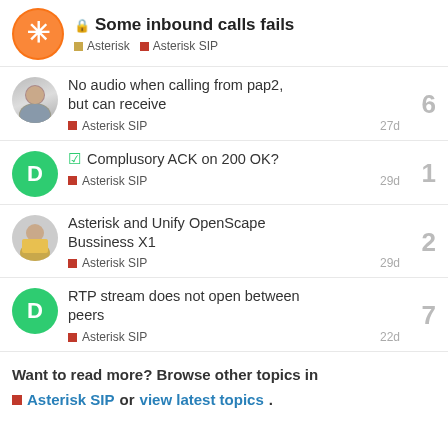Some inbound calls fails | Asterisk | Asterisk SIP
No audio when calling from pap2, but can receive | Asterisk SIP | 27d | 6
Complusory ACK on 200 OK? | Asterisk SIP | 29d | 1
Asterisk and Unify OpenScape Bussiness X1 | Asterisk SIP | 29d | 2
RTP stream does not open between peers | Asterisk SIP | 22d | 7
Want to read more? Browse other topics in Asterisk SIP or view latest topics.